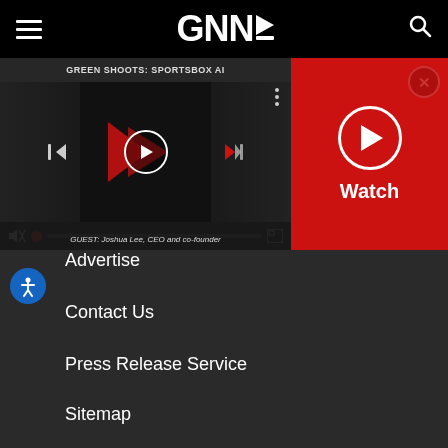GNN
[Figure (screenshot): Video player showing GREEN SHOOTS: SPORTSBOX AI episode with playback controls, mute icon, progress bar, and fullscreen button. Caption reads: GUEST: Joshua Lee, CEO and co-founder]
[Figure (screenshot): Red Watch panel with circular play button and Watch label, and a close (X) button in the top right corner]
Advertise
Contact Us
Press Release Service
Sitemap
Privacy Policy
Terms of Service
RSS